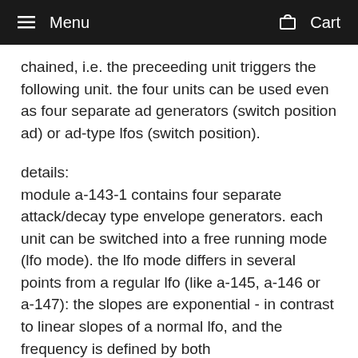Menu   Cart
chained, i.e. the preceeding unit triggers the following unit. the four units can be used even as four separate ad generators (switch position ad) or ad-type lfos (switch position).
details:
module a-143-1 contains four separate attack/decay type envelope generators. each unit can be switched into a free running mode (lfo mode). the lfo mode differs in several points from a regular lfo (like a-145, a-146 or a-147): the slopes are exponential - in contrast to linear slopes of a normal lfo, and the frequency is defined by both